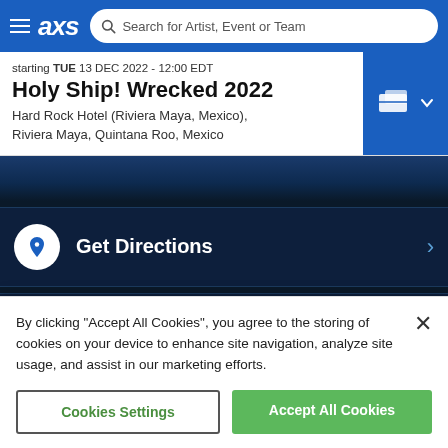axs — Search for Artist, Event or Team
Holy Ship! Wrecked 2022
starting TUE 13 DEC 2022 - 12:00 EDT
Hard Rock Hotel (Riviera Maya, Mexico), Riviera Maya, Quintana Roo, Mexico
[Figure (screenshot): Blue banner background with dark overlay]
Get Directions
Get Parking
By clicking "Accept All Cookies", you agree to the storing of cookies on your device to enhance site navigation, analyze site usage, and assist in our marketing efforts.
Cookies Settings
Accept All Cookies